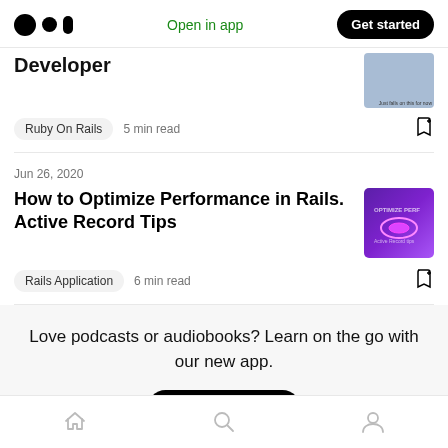Open in app | Get started
Developer
Ruby On Rails  5 min read
Jun 26, 2020
How to Optimize Performance in Rails. Active Record Tips
Rails Application  6 min read
Love podcasts or audiobooks? Learn on the go with our new app.
Try Knowable
Home | Search | Profile